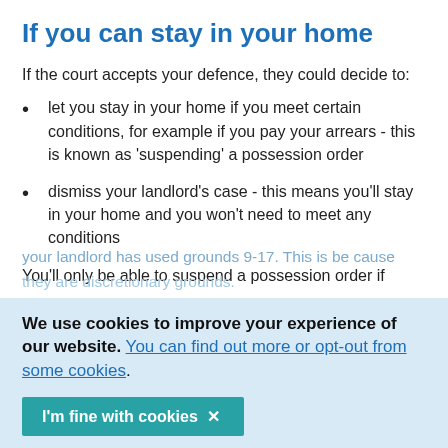If you can stay in your home
If the court accepts your defence, they could decide to:
let you stay in your home if you meet certain conditions, for example if you pay your arrears - this is known as 'suspending' a possession order
dismiss your landlord's case - this means you'll stay in your home and you won't need to meet any conditions
You'll only be able to suspend a possession order if your landlord has used grounds 9-17. This is because they are discretionary grounds.
We use cookies to improve your experience of our website. You can find out more or opt-out from some cookies.
I'm fine with cookies ✕